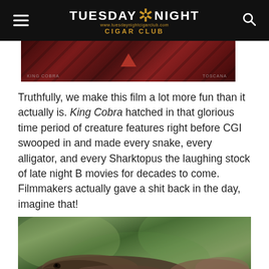TUESDAY NIGHT CIGAR CLUB
[Figure (photo): Partial view of a cigar box or packaging with dark red/brown diagonal stripe pattern and a red triangle logo]
Truthfully, we make this film a lot more fun than it actually is. King Cobra hatched in that glorious time period of creature features right before CGI swooped in and made every snake, every alligator, and every Sharktopus the laughing stock of late night B movies for decades to come. Filmmakers actually gave a shit back in the day, imagine that!
[Figure (photo): Close-up photo of a large snake or reptile creature with textured scales, set against a blurred green foliage background]